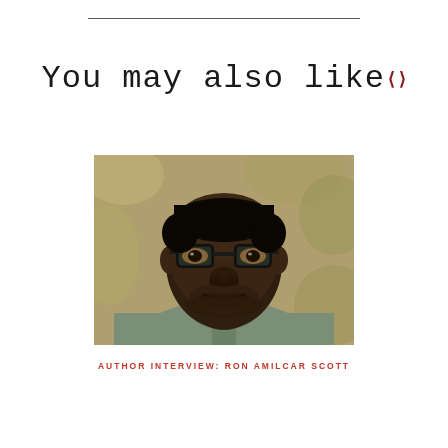You may also like
[Figure (photo): Portrait photo of a young Black man wearing glasses and a green/grey button-up shirt, looking directly at camera with a serious expression, with a blurred outdoor background.]
AUTHOR INTERVIEW: RON AMILCAR SCOTT